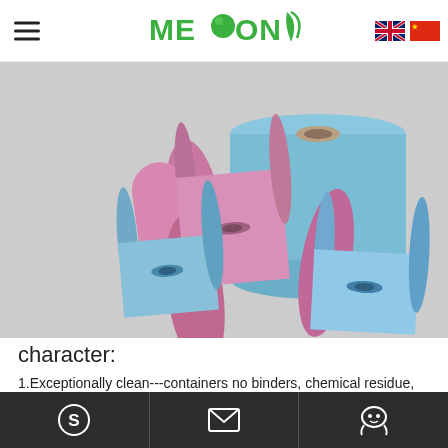MESON (logo with globe and leaf)
[Figure (photo): Four rolls of nonwoven fabric material in pink/mauve and light blue colors, arranged on a light grey background. Three smaller rolls in front and one large roll standing upright in the back right.]
character:
1.Exceptionally clean---containers no binders, chemical residue, contaminants or metal shavings that can result in surface
Footer with Skype, email, and QQ/chat icons